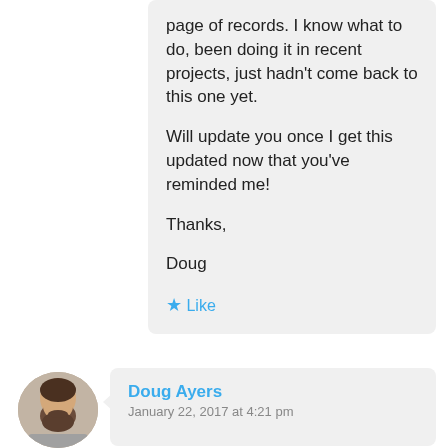page of records. I know what to do, been doing it in recent projects, just hadn't come back to this one yet.

Will update you once I get this updated now that you've reminded me!

Thanks,

Doug
★ Like
[Figure (photo): Circular avatar photo of a man with a beard, wearing a grey top, with light/grey background]
Doug Ayers
January 22, 2017 at 4:21 pm